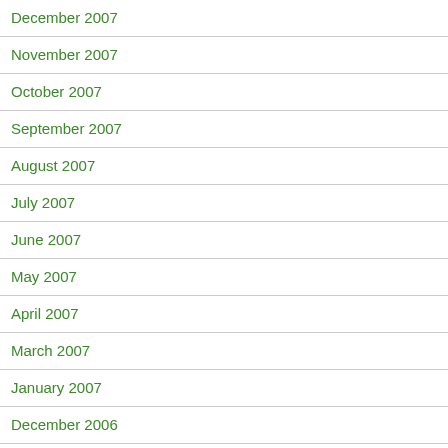December 2007
November 2007
October 2007
September 2007
August 2007
July 2007
June 2007
May 2007
April 2007
March 2007
January 2007
December 2006
November 2006